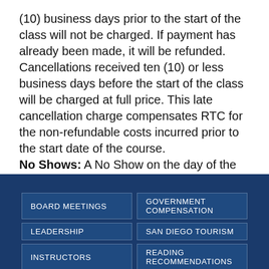(10) business days prior to the start of the class will not be charged. If payment has already been made, it will be refunded. Cancellations received ten (10) or less business days before the start of the class will be charged at full price. This late cancellation charge compensates RTC for the non-refundable costs incurred prior to the start date of the course. No Shows: A No Show on the day of the class will result in a full charge for the class.
BOARD MEETINGS
GOVERNMENT COMPENSATION
LEADERSHIP
SAN DIEGO TOURISM
INSTRUCTORS
READING RECOMMENDATIONS